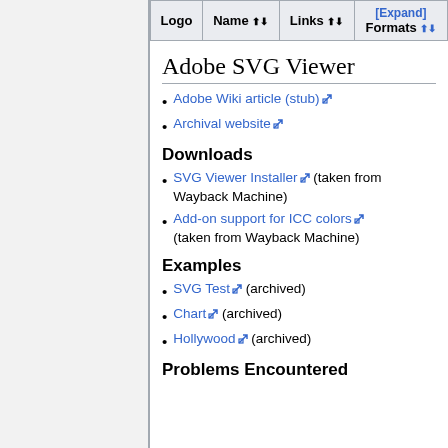| Logo | Name ⬆⬇ | Links ⬆⬇ | [Expand] Formats ⬆⬇ |
| --- | --- | --- | --- |
Adobe SVG Viewer
Adobe Wiki article (stub) [external link]
Archival website [external link]
Downloads
SVG Viewer Installer [external link] (taken from Wayback Machine)
Add-on support for ICC colors [external link] (taken from Wayback Machine)
Examples
SVG Test [external link] (archived)
Chart [external link] (archived)
Hollywood [external link] (archived)
Problems Encountered